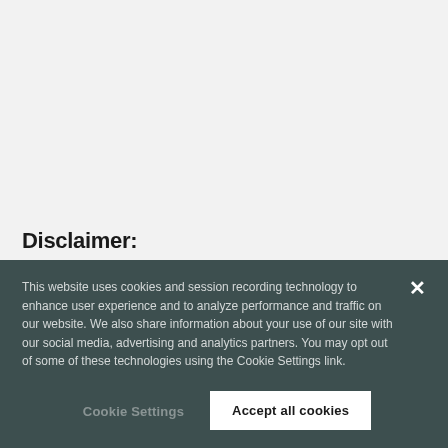Disclaimer:
Neither CBRE nor its affiliated companies make any warranties or claims on the implied accuracy of the information contained
This website uses cookies and session recording technology to enhance user experience and to analyze performance and traffic on our website. We also share information about your use of our site with our social media, advertising and analytics partners. You may opt out of some of these technologies using the Cookie Settings link.
Cookie Settings
Accept all cookies